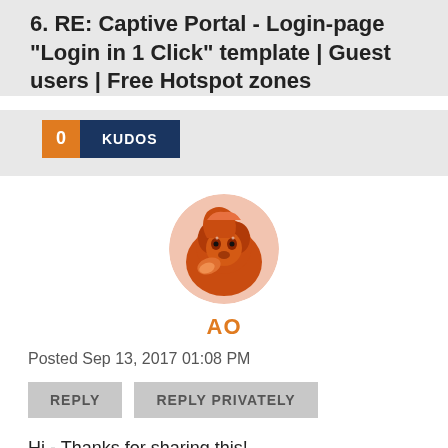6. RE: Captive Portal - Login-page "Login in 1 Click" template | Guest users | Free Hotspot zones
[Figure (illustration): Kudos button with orange count box showing 0 and dark blue KUDOS label]
[Figure (photo): Circular avatar image of a squirrel illustration in orange and brown tones]
AO
Posted Sep 13, 2017 01:08 PM
REPLY   REPLY PRIVATELY
Hi - Thanks for sharing this!